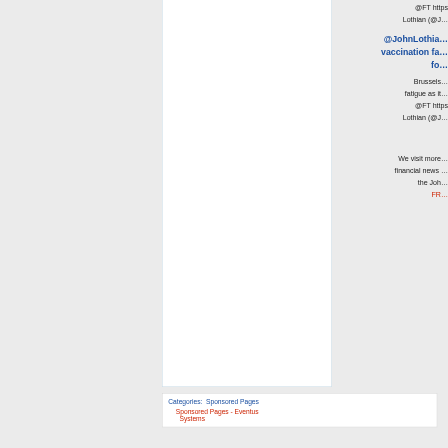@FT https… Lothian (@J…
@JohnLothia… vaccination fa… fo…
Brussels… fatigue as it… @FT https… Lothian (@J…
We visit more… financial news … the Joh…
FR…
Categories: Sponsored Pages
Sponsored Pages - Eventus Systems